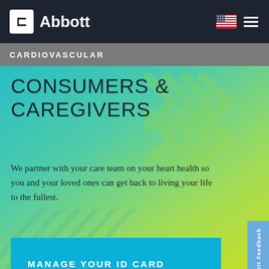Abbott
CARDIOVASCULAR
CONSUMERS & CAREGIVERS
We partner with your care team on your heart health so you and your loved ones can get back to living your life to the fullest.
MANAGE YOUR ID CARD
LIVING WITH YOUR DEVICE